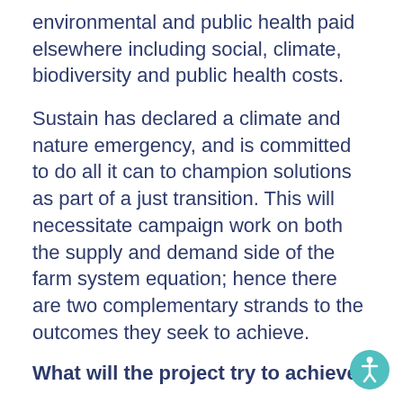environmental and public health paid elsewhere including social, climate, biodiversity and public health costs.
Sustain has declared a climate and nature emergency, and is committed to do all it can to champion solutions as part of a just transition. This will necessitate campaign work on both the supply and demand side of the farm system equation; hence there are two complementary strands to the outcomes they seek to achieve.
What will the project try to achieve?
Sustain will work to shift understanding and gain policy commitments (at national and local level where opportunities arise) to support the system-change needed to achieve the goals of.